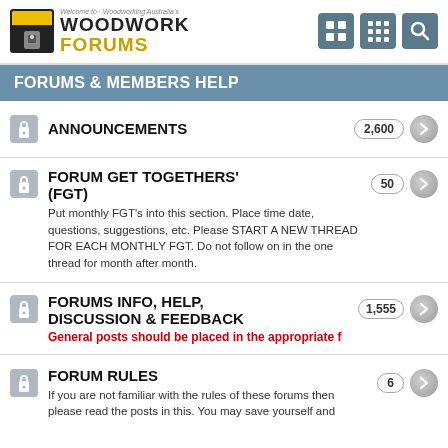Welcome to Woodworking Australia's WOODWORK FORUMS
FORUMS & MEMBERS HELP
ANNOUNCEMENTS 2,600
FORUM GET TOGETHERS' (FGT) Put monthly FGT's into this section. Place time date, questions, suggestions, etc. Please START A NEW THREAD FOR EACH MONTHLY FGT. Do not follow on in the one thread for month after month. 50
FORUMS INFO, HELP, DISCUSSION & FEEDBACK General posts should be placed in the appropriate f 1,555
FORUM RULES If you are not familiar with the rules of these forums then please read the posts in this. You may save yourself and 6